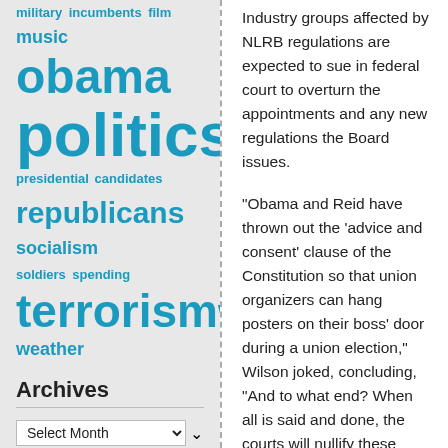military incumbents film music obama politics presidential candidates republicans socialism soldiers spending terrorism war weather
Archives
Select Month [dropdown]
[Search input field]
Search [button]
Industry groups affected by NLRB regulations are expected to sue in federal court to overturn the appointments and any new regulations the Board issues.
“Obama and Reid have thrown out the ‘advice and consent’ clause of the Constitution so that union organizers can hang posters on their boss’ door during a union election,” Wilson joked, concluding, “And to what end? When all is said and done, the courts will nullify these appointments and their acts, meanwhile Obama will be remembered as the recess president who accomplished nothing because he was too busy violating the Constitution.”